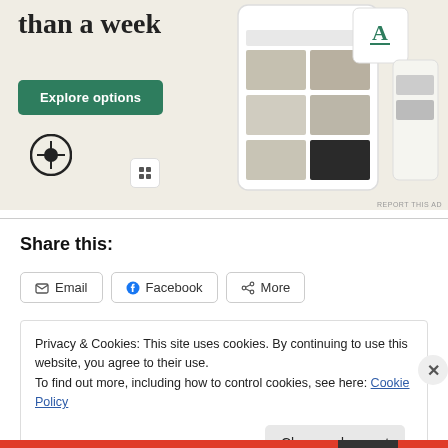[Figure (screenshot): WordPress.com advertisement banner showing 'than a week' heading, 'Explore options' green button, WordPress logo, and a mockup of a food/recipe website on mobile screens]
REPORT THIS AD
Share this:
Email   Facebook   More
Privacy & Cookies: This site uses cookies. By continuing to use this website, you agree to their use.
To find out more, including how to control cookies, see here: Cookie Policy
Close and accept